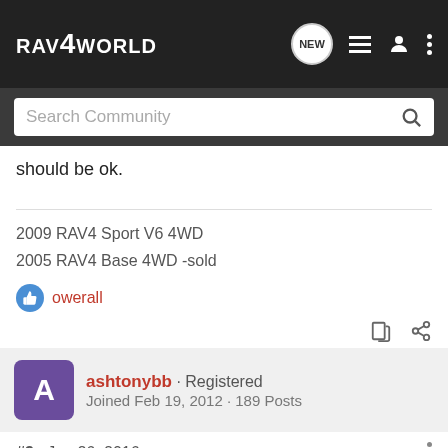RAV4WORLD — navigation bar with Search Community search box
should be ok.
2009 RAV4 Sport V6 4WD
2005 RAV4 Base 4WD -sold
owerall
ashtonybb · Registered
Joined Feb 19, 2012 · 189 Posts
#3 · Jan 26, 2016
second to that, i recommend toyota specific spark plugs, you can always ask them for torque specs. 14ft-lbs, check always